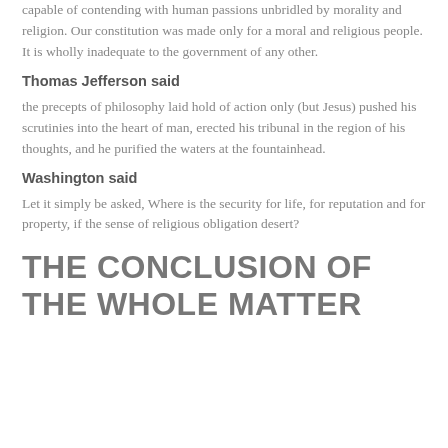capable of contending with human passions unbridled by morality and religion. Our constitution was made only for a moral and religious people. It is wholly inadequate to the government of any other.
Thomas Jefferson said
the precepts of philosophy laid hold of action only (but Jesus) pushed his scrutinies into the heart of man, erected his tribunal in the region of his thoughts, and he purified the waters at the fountainhead.
Washington said
Let it simply be asked, Where is the security for life, for reputation and for property, if the sense of religious obligation desert?
THE CONCLUSION OF THE WHOLE MATTER